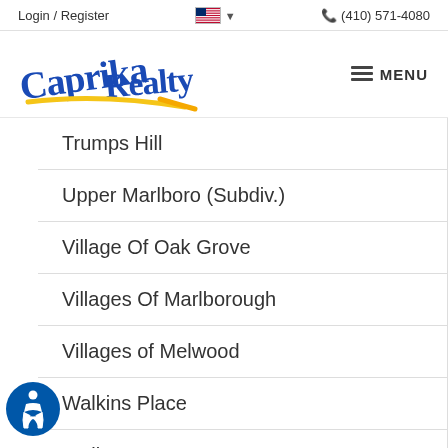Login / Register   (410) 571-4080
[Figure (logo): Caprika Realty logo with blue script text and yellow swoosh underline]
Trumps Hill
Upper Marlboro (Subdiv.)
Village Of Oak Grove
Villages Of Marlborough
Villages of Melwood
Walkins Place
Wallace Estates
Wallace Landing